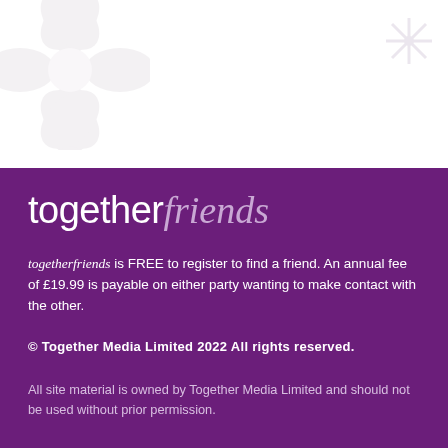[Figure (illustration): White decorative flower/daisy shape in top-left corner of white section]
[Figure (illustration): White decorative snowflake/asterisk shape in top-right corner of white section]
togetherfriends
togetherfriends is FREE to register to find a friend. An annual fee of £19.99 is payable on either party wanting to make contact with the other.
© Together Media Limited 2022 All rights reserved.
All site material is owned by Together Media Limited and should not be used without prior permission.
Any views expressed by members represent the opinions of the author, and do not represent the opinions of Together Media Limited.